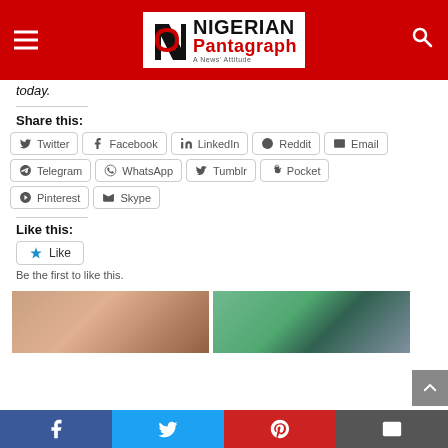Nigerian Pantagraph - A News' Attitude
today.
Share this:
Twitter
Facebook
LinkedIn
Reddit
Email
Telegram
WhatsApp
Tumblr
Pocket
Pinterest
Skype
Like this:
Like
Be the first to like this.
[Figure (photo): Two thumbnail photos at the bottom of the article page]
Facebook | Twitter | Pinterest | Email